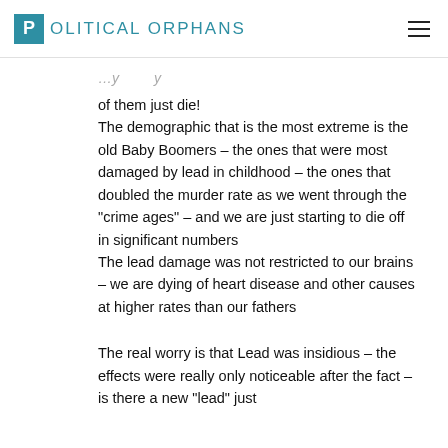Political Orphans
of them just die! The demographic that is the most extreme is the old Baby Boomers – the ones that were most damaged by lead in childhood – the ones that doubled the murder rate as we went through the "crime ages" – and we are just starting to die off in significant numbers The lead damage was not restricted to our brains – we are dying of heart disease and other causes at higher rates than our fathers
The real worry is that Lead was insidious – the effects were really only noticeable after the fact – is there a new "lead" just